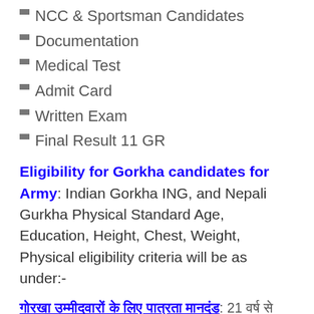NCC & Sportsman Candidates
Documentation
Medical Test
Admit Card
Written Exam
Final Result 11 GR
Eligibility for Gorkha candidates for Army: Indian Gorkha ING, and Nepali Gurkha Physical Standard Age, Education, Height, Chest, Weight, Physical eligibility criteria will be as under:-
गोरखा उम्मीदवारों के लिए पात्रता मानदंड: 21 वर्ष से अधिक नहीं और शैक्षिक योग्यता, शारीरिक मानक ऊंचाई, वजन, सीना आदि के लिए पात्रता मानदंड निम्नानुसार होंगे 21 वर्ष से अधिक नहीं और शारीरिक मानक, शैक्षिक योग्यता और शारीरिक पात्रता मापदंड शारीरिक मानदंड तथा शैक्षिक पात्रता आय वर्षीय गोरखा उम्मीदवार